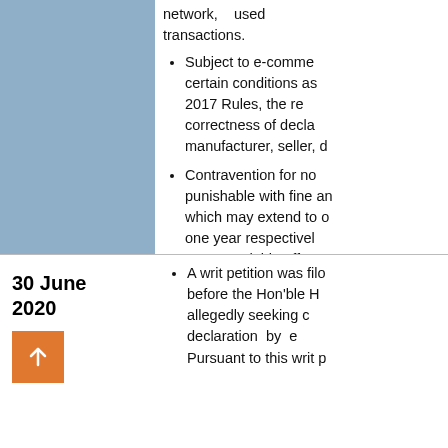network, used transactions.
Subject to e-commerce certain conditions as 2017 Rules, the re correctness of decla manufacturer, seller, d
Contravention for no punishable with fine an which may extend to one year respectivel compoundable offenc
30 June 2020
A writ petition was filed before the Hon'ble H allegedly seeking c declaration by e Pursuant to this writ p